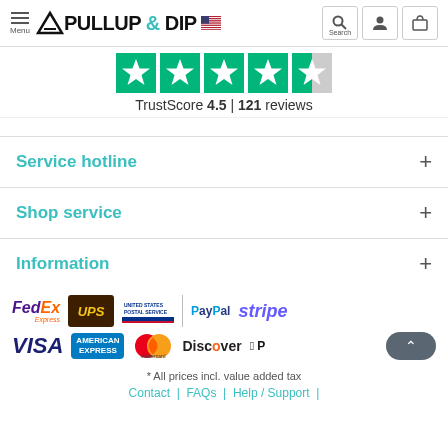PULLUP & DIP
[Figure (other): Trustpilot 4.5 star rating widget with green stars]
TrustScore 4.5 | 121 reviews
Service hotline
Shop service
Information
[Figure (other): Payment logos: FedEx Express, UPS, USPS, PayPal, Stripe, VISA, American Express, Mastercard, Discover, Apple Pay]
* All prices incl. value added tax
Contact | FAQs | Help / Support |